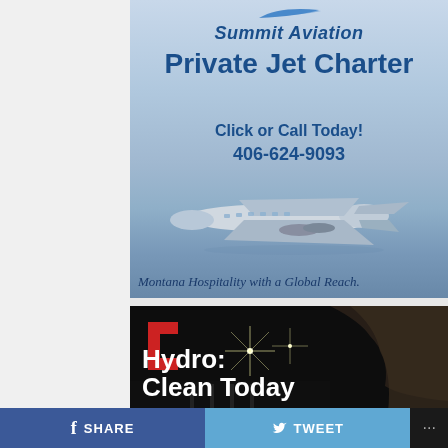[Figure (illustration): Summit Aviation private jet charter advertisement showing a private jet flying over clouds with text: Summit Aviation, Private Jet Charter, Click or Call Today!, 406-624-9093, Montana Hospitality with a Global Reach.]
[Figure (photo): Hydro: Clean Today advertisement showing a dark tunnel/hydroelectric facility interior with bright lights, with a red angular logo mark in upper left corner.]
SHARE
TWEET